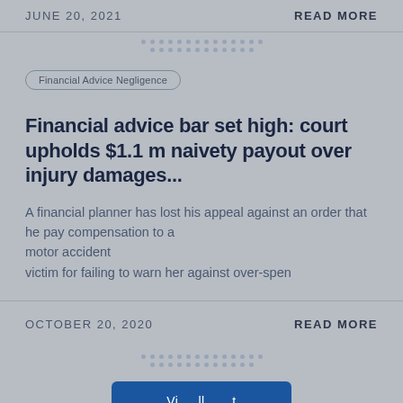JUNE 20, 2021 | READ MORE
Financial Advice Negligence
Financial advice bar set high: court upholds $1.1 m naivety payout over injury damages...
A financial planner has lost his appeal against an order that he pay compensation to a motor accident victim for failing to warn her against over-spen
OCTOBER 20, 2020 | READ MORE